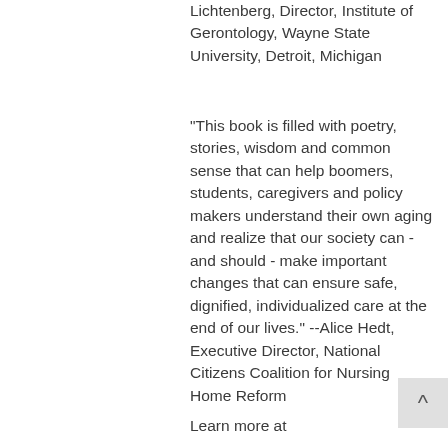Lichtenberg, Director, Institute of Gerontology, Wayne State University, Detroit, Michigan
"This book is filled with poetry, stories, wisdom and common sense that can help boomers, students, caregivers and policy makers understand their own aging and realize that our society can - and should - make important changes that can ensure safe, dignified, individualized care at the end of our lives." --Alice Hedt, Executive Director, National Citizens Coalition for Nursing Home Reform
Learn more at